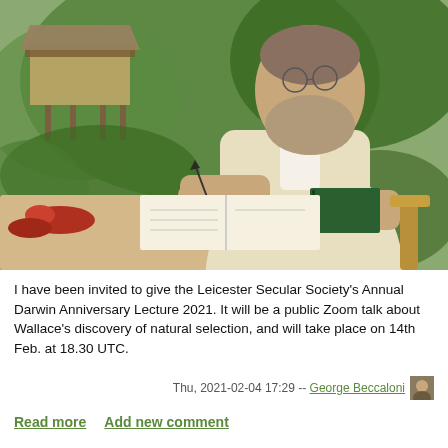[Figure (illustration): Oil painting portrait of Alfred Russel Wallace seated at a table outdoors, holding a quill pen over an open notebook, with a green book in his other hand, a red bird and specimens on the table, and a tropical forest with a stilt house in the background. He has a beard and round glasses and wears a light cream jacket.]
I have been invited to give the Leicester Secular Society's Annual Darwin Anniversary Lecture 2021. It will be a public Zoom talk about Wallace's discovery of natural selection, and will take place on 14th Feb. at 18.30 UTC.
Thu, 2021-02-04 17:29 -- George Beccaloni
Read more   Add new comment